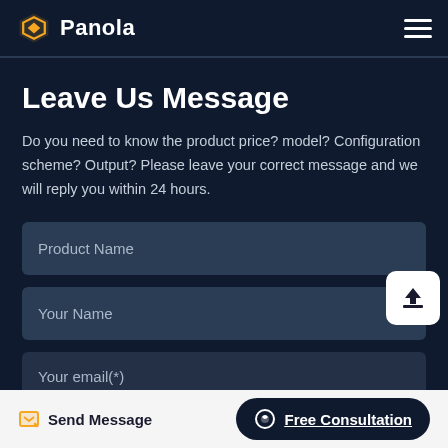Panola
Leave Us Message
Do you need to know the product price? model? Configuration scheme? Output? Please leave your correct message and we will reply you within 24 hours.
Product Name
Your Name
Your email(*)
Send Message | Free Consultation